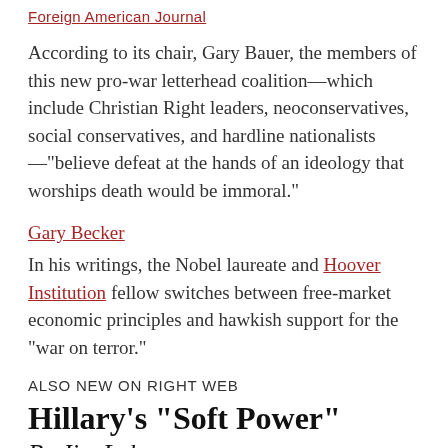Foreign American Journal
According to its chair, Gary Bauer, the members of this new pro-war letterhead coalition—which include Christian Right leaders, neoconservatives, social conservatives, and hardline nationalists—"believe defeat at the hands of an ideology that worships death would be immoral."
Gary Becker
In his writings, the Nobel laureate and Hoover Institution fellow switches between free-market economic principles and hawkish support for the "war on terror."
ALSO NEW ON RIGHT WEB
Hillary's "Soft Power"
By Jim Lobe